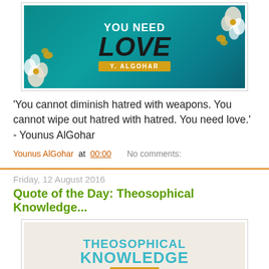[Figure (illustration): Book cover with teal background, floral decorations, text 'YOU NEED LOVE' by Y. AlGohar]
'You cannot diminish hatred with weapons. You cannot wipe out hatred with hatred. You need love.' - Younus AlGohar
Younus AlGohar at 00:00   No comments:
Friday, 12 August 2016
Quote of the Day: Theosophical Knowledge...
[Figure (illustration): Book cover with light gray background, text 'THEOSOPHICAL KNOWLEDGE is the art of' in teal with orange banner]